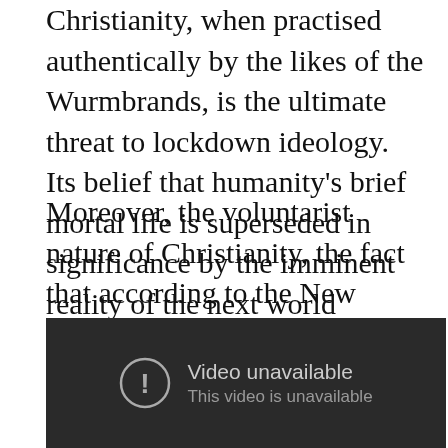Christianity, when practised authentically by the likes of the Wurmbrands, is the ultimate threat to lockdown ideology. Its belief that humanity's brief mortal life is superseded in significance by the imminent reality of the next world threatens the utopianism of the ‘stay safe’ message.
Moreover, the voluntarist nature of Christianity, the fact that according to the New Testament it should be spread by loving persuasion rather than by coercion, is also a threat to Marxist, State-knows-best authoritarianism.
[Figure (other): Embedded video player showing 'Video unavailable' error message with an exclamation mark icon and text 'This video is unavailable' on a dark background.]